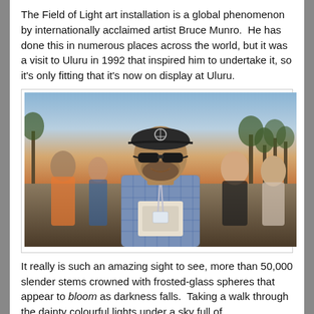The Field of Light art installation is a global phenomenon by internationally acclaimed artist Bruce Munro. He has done this in numerous places across the world, but it was a visit to Uluru in 1992 that inspired him to undertake it, so it's only fitting that it's now on display at Uluru.
[Figure (photo): A man wearing a dark baseball cap with a Mercedes logo, sunglasses, and a blue/grey plaid shirt with a lanyard/badge around his neck, smiling at the camera. He is surrounded by a crowd of people outdoors at what appears to be dusk or sunset, with trees and a warm sky visible in the background.]
It really is such an amazing sight to see, more than 50,000 slender stems crowned with frosted-glass spheres that appear to bloom as darkness falls. Taking a walk through the dainty colourful lights under a sky full of